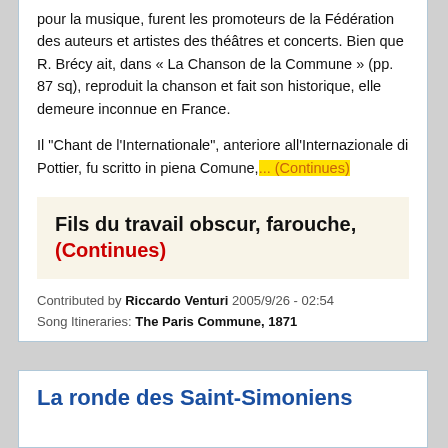pour la musique, furent les promoteurs de la Fédération des auteurs et artistes des théâtres et concerts. Bien que R. Brécy ait, dans « La Chanson de la Commune » (pp. 87 sq), reproduit la chanson et fait son historique, elle demeure inconnue en France.
Il "Chant de l'Internationale", anteriore all'Internazionale di Pottier, fu scritto in piena Comune,... (Continues)
Fils du travail obscur, farouche, (Continues)
Contributed by Riccardo Venturi 2005/9/26 - 02:54
Song Itineraries: The Paris Commune, 1871
La ronde des Saint-Simoniens